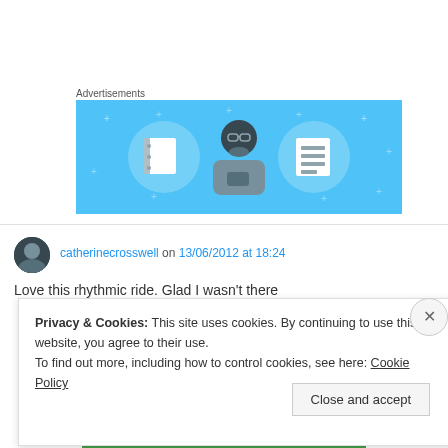Advertisements
[Figure (illustration): Advertisement banner with light blue background showing a person holding a phone flanked by two circular icons — a notebook on the left and a list/document on the right, with decorative plus/star dots.]
catherinecrosswell on 13/06/2012 at 18:24
Love this rhythmic ride. Glad I wasn't there
Privacy & Cookies: This site uses cookies. By continuing to use this website, you agree to their use.
To find out more, including how to control cookies, see here: Cookie Policy
Close and accept